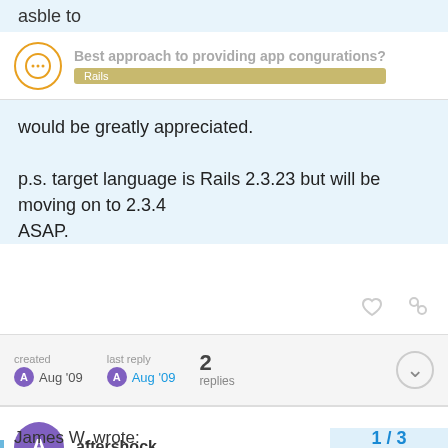asble to
Best approach to providing app congurations?
Rails
would be greatly appreciated.

p.s. target language is Rails 2.3.23 but will be moving on to 2.3.4
ASAP.
created Aug '09  last reply Aug '09  2 replies
aftershock  Aug '09
James W. wrote:
1 / 3